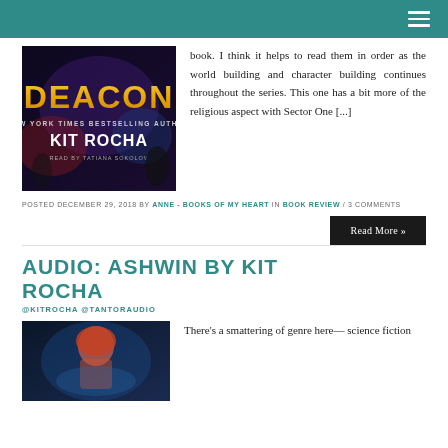[Figure (photo): Book cover for 'Deacon' by Kit Rocha, New York Times Bestselling Author, Read by Tatiana Sokolov. Dark fantasy/sci-fi aesthetic with golden title text.]
book. I think it helps to read them in order as the world building and character building continues throughout the series. This one has a bit more of the religious aspect with Sector One [...]
POSTED DECEMBER 29, 2018 BY ANNE - BOOKS OF MY HEART IN BOOK REVIEW / 3 COMMENTS
Read More »
AUDIO: ASHWIN BY KIT ROCHA
@KITROCHA @TANTORAUDIO
[Figure (photo): Book cover for 'Ashwin' by Kit Rocha. Shows a woman with red/orange hair in a sci-fi setting.]
There's a smattering of genre here— science fiction